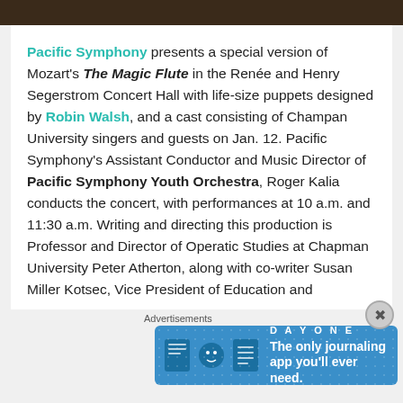Pacific Symphony presents a special version of Mozart's The Magic Flute in the Renée and Henry Segerstrom Concert Hall with life-size puppets designed by Robin Walsh, and a cast consisting of Champan University singers and guests on Jan. 12. Pacific Symphony's Assistant Conductor and Music Director of Pacific Symphony Youth Orchestra, Roger Kalia conducts the concert, with performances at 10 a.m. and 11:30 a.m. Writing and directing this production is Professor and Director of Operatic Studies at Chapman University Peter Atherton, along with co-writer Susan Miller Kotsec, Vice President of Education and
Advertisements
[Figure (other): DAY ONE journaling app advertisement banner with blue background, app icons, and text 'The only journaling app you'll ever need.']